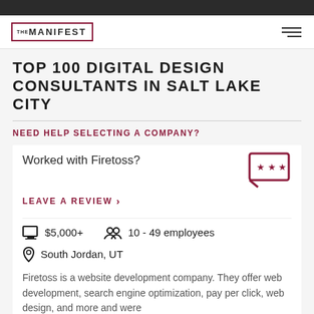THE MANIFEST
TOP 100 DIGITAL DESIGN CONSULTANTS IN SALT LAKE CITY
NEED HELP SELECTING A COMPANY?
Worked with Firetoss?
LEAVE A REVIEW >
$5,000+    10 - 49 employees
South Jordan, UT
Firetoss is a website development company. They offer web development, search engine optimization, pay per click, web design, and more and were